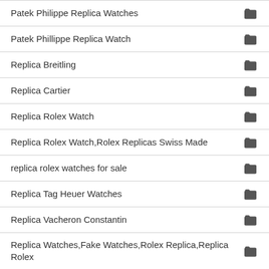Patek Philippe Replica Watches
Patek Phillippe Replica Watch
Replica Breitling
Replica Cartier
Replica Rolex Watch
Replica Rolex Watch,Rolex Replicas Swiss Made
replica rolex watches for sale
Replica Tag Heuer Watches
Replica Vacheron Constantin
Replica Watches,Fake Watches,Rolex Replica,Replica Rolex
Richard Mille Replica
Richard Mille Replica Watches